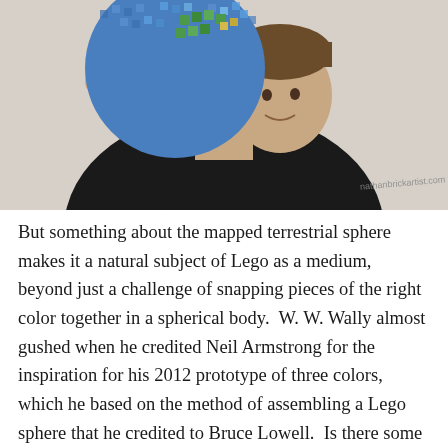[Figure (photo): A smiling man holding a large LEGO globe (Earth) over his shoulder. He is wearing a black t-shirt that reads 'nathanbrickartist.com'. The LEGO globe shows blue ocean and green/brown landmass colors.]
But something about the mapped terrestrial sphere makes it a natural subject of Lego as a medium, beyond just a challenge of snapping pieces of the right color together in a spherical body.  W. W. Wally almost gushed when he credited Neil Armstrong for the inspiration for his 2012 prototype of three colors, which he based on the method of assembling a Lego sphere that he credited to Bruce Lowell.  Is there some convergence between the idea and techniques of globe-making from plastic colored bricks,